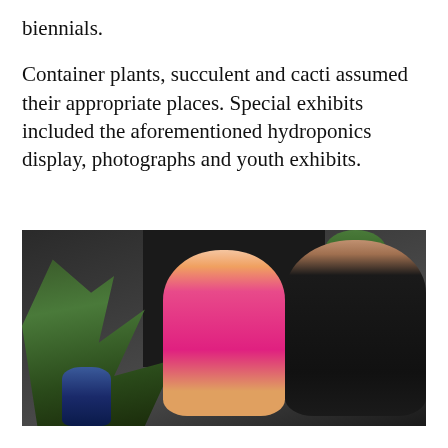biennials.
Container plants, succulent and cacti assumed their appropriate places. Special exhibits included the aforementioned hydroponics display, photographs and youth exhibits.
[Figure (photo): Two women posing together smiling at a garden show exhibit. On the left is a woman with long blonde hair wearing a pink top and leopard print skirt. On the right is a younger woman with curly dark hair wearing a black t-shirt and holding a blue phone. In the foreground is a floral arrangement with a blue vase and white flowers with green foliage. Behind them is a black panel display backdrop with a succulent plant on a stand.]